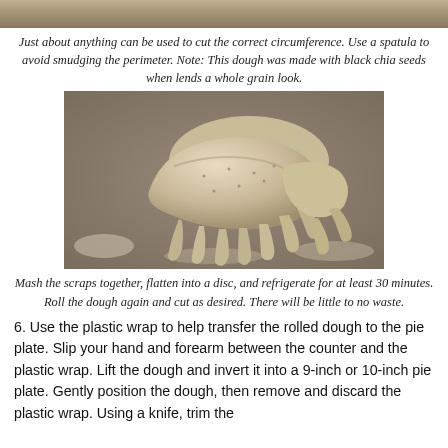[Figure (photo): Top strip of a photo showing dough being cut, partial view at top of page]
Just about anything can be used to cut the correct circumference. Use a spatula to avoid smudging the perimeter. Note: This dough was made with black chia seeds when lends a whole grain look.
[Figure (photo): Photo of mashed dough scraps flattened and piled together on a floured surface, rough disc shapes visible]
Mash the scraps together, flatten into a disc, and refrigerate for at least 30 minutes.
Roll the dough again and cut as desired. There will be little to no waste.
6. Use the plastic wrap to help transfer the rolled dough to the pie plate. Slip your hand and forearm between the counter and the plastic wrap. Lift the dough and invert it into a 9-inch or 10-inch pie plate. Gently position the dough, then remove and discard the plastic wrap. Using a knife, trim the